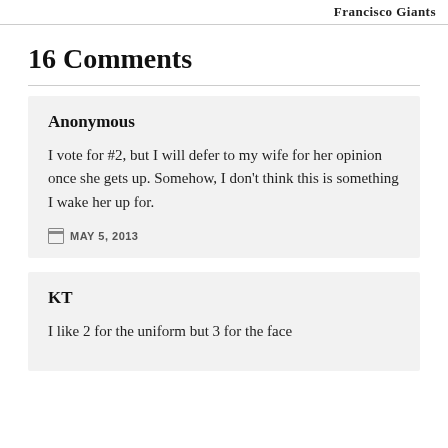Francisco Giants
16 Comments
Anonymous

I vote for #2, but I will defer to my wife for her opinion once she gets up. Somehow, I don't think this is something I wake her up for.

MAY 5, 2013
KT

I like 2 for the uniform but 3 for the face